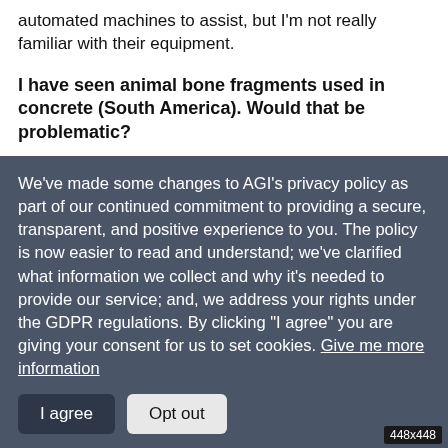automated machines to assist, but I'm not really familiar with their equipment.
I have seen animal bone fragments used in concrete (South America). Would that be problematic?
Typically, aggregate should meet some minimum physical testing requirements, but people also have to use what they have. We have seen horse hair used as fibers in older concrete.
We've made some changes to AGI's privacy policy as part of our continued commitment to providing a secure, transparent, and positive experience to you. The policy is now easier to read and understand; we've clarified what information we collect and why it's needed to provide our service; and, we address your rights under the GDPR regulations. By clicking "I agree" you are giving your consent for us to set cookies. Give me more information
I agree  Opt out